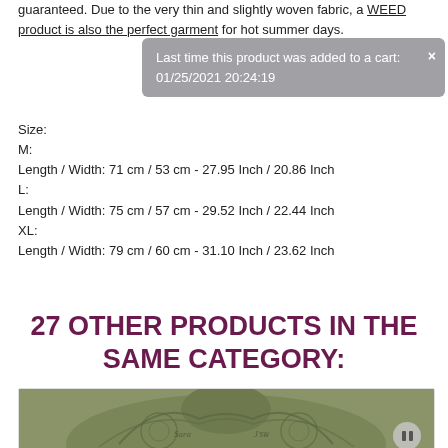guaranteed. Due to the very thin and slightly woven fabric, a WEED product is also the perfect garment for hot summer days.
Last time this product was added to a cart: 01/25/2021 20:24:19
Size:
M:
Length / Width: 71 cm / 53 cm - 27.95 Inch / 20.86 Inch
L:
Length / Width: 75 cm / 57 cm - 29.52 Inch / 22.44 Inch
XL:
Length / Width: 79 cm / 60 cm - 31.10 Inch / 23.62 Inch
27 OTHER PRODUCTS IN THE SAME CATEGORY:
[Figure (photo): Photo of a dark olive green hoodie/garment with ornate decorative pattern, shown from the back]